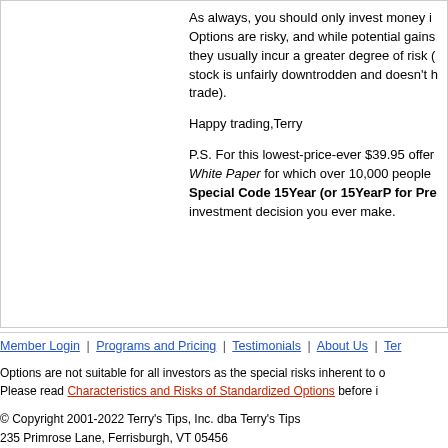As always, you should only invest money i... Options are risky, and while potential gains... they usually incur a greater degree of risk (... stock is unfairly downtrodden and doesn't h... trade).
Happy trading,Terry
P.S. For this lowest-price-ever $39.95 offer... White Paper for which over 10,000 people... Special Code 15Year (or 15YearP for Pre... investment decision you ever make.
Member Login | Programs and Pricing | Testimonials | About Us | Ter...
Options are not suitable for all investors as the special risks inherent to o... Please read Characteristics and Risks of Standardized Options before i...
© Copyright 2001-2022 Terry's Tips, Inc. dba Terry's Tips
235 Primrose Lane, Ferrisburgh, VT 05456